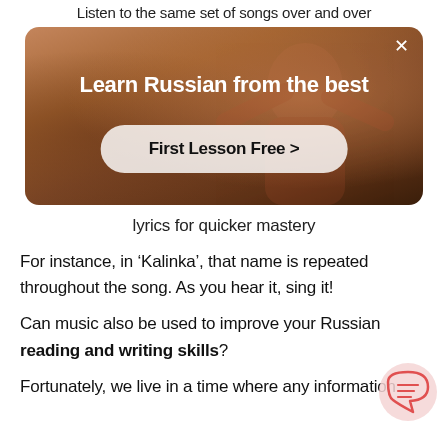Listen to the same set of songs over and over
[Figure (screenshot): Advertisement banner with a person in a red top with arms raised, showing 'Learn Russian from the best' title and 'First Lesson Free >' button with a close X in the top right corner.]
lyrics for quicker mastery
For instance, in ‘Kalinka’, that name is repeated throughout the song. As you hear it, sing it!
Can music also be used to improve your Russian reading and writing skills?
Fortunately, we live in a time where any information